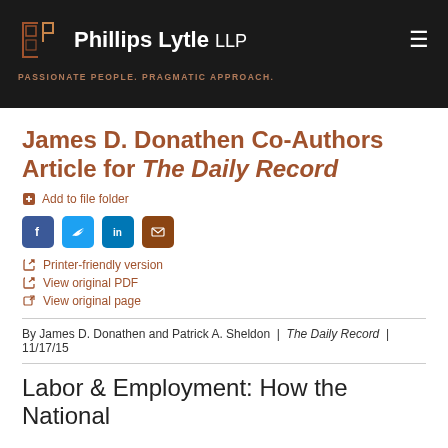Phillips Lytle LLP | PASSIONATE PEOPLE. PRAGMATIC APPROACH.
James D. Donathen Co-Authors Article for The Daily Record
Add to file folder
Printer-friendly version
View original PDF
View original page
By James D. Donathen and Patrick A. Sheldon | The Daily Record | 11/17/15
Labor & Employment: How the National